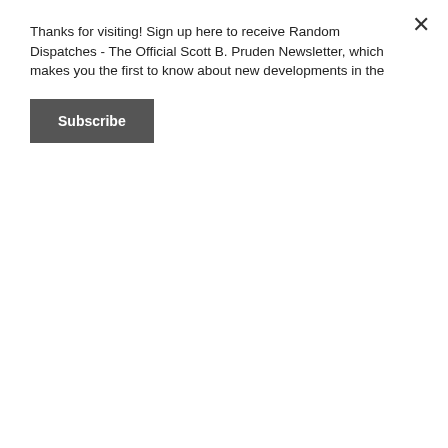Thanks for visiting! Sign up here to receive Random Dispatches - The Official Scott B. Pruden Newsletter, which makes you the first to know about new developments in the
[Figure (screenshot): Subscribe button — dark grey rectangular button with white bold text reading 'Subscribe']
clicking here on this very page.
When you click the link, you'll be redirected to PayPal. To request an inscription, simply type what you'd like me to write in the “Add special instructions to the seller” field, then complete your order. Charges will appear on your PayPal history or credit card statement as Write On Time LLC. It’s that easy!